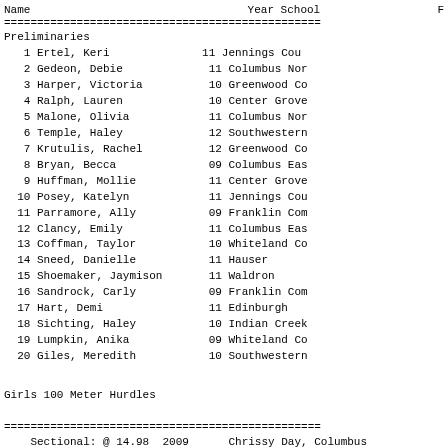| Name | Year | School | Finals |
| --- | --- | --- | --- |
| 1 Ertel, Keri | 11 | Jennings Cou |  |
| 2 Gedeon, Debie | 11 | Columbus Nor |  |
| 3 Harper, Victoria | 10 | Greenwood Co |  |
| 4 Ralph, Lauren | 10 | Center Grove |  |
| 5 Malone, Olivia | 11 | Columbus Nor |  |
| 6 Temple, Haley | 12 | Southwestern |  |
| 7 Krutulis, Rachel | 12 | Greenwood Co |  |
| 8 Bryan, Becca | 09 | Columbus Eas |  |
| 9 Huffman, Mollie | 11 | Center Grove |  |
| 10 Posey, Katelyn | 11 | Jennings Cou |  |
| 11 Parramore, Ally | 09 | Franklin Com |  |
| 12 Clancy, Emily | 11 | Columbus Eas |  |
| 13 Coffman, Taylor | 10 | Whiteland Co |  |
| 14 Sneed, Danielle | 11 | Hauser |  |
| 15 Shoemaker, Jaymison | 11 | Waldron |  |
| 16 Sandrock, Carly | 09 | Franklin Com |  |
| 17 Hart, Demi | 11 | Edinburgh |  |
| 18 Sichting, Haley | 10 | Indian Creek |  |
| 19 Lumpkin, Anika | 09 | Whiteland Co |  |
| 20 Giles, Meredith | 10 | Southwestern |  |
Girls 100 Meter Hurdles
| Sectional | Name | Year School | Finals |
| --- | --- | --- | --- |
| Sectional: @ 14.98 2009 |  | Chrissy Day, Columbus |  |
| 15.09 STAN |  |  |  |